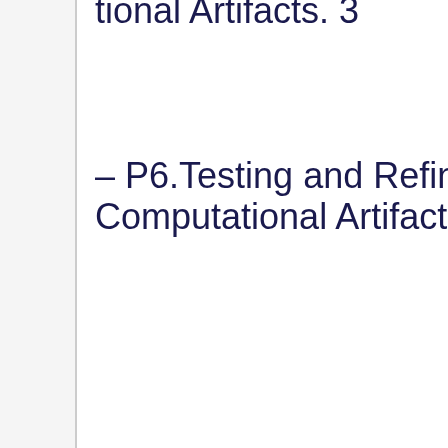tional Artifacts. 3
– P6.Testing and Refining Computational Artifacts. 2
– P6.Testing and Refining Computational Artifacts.